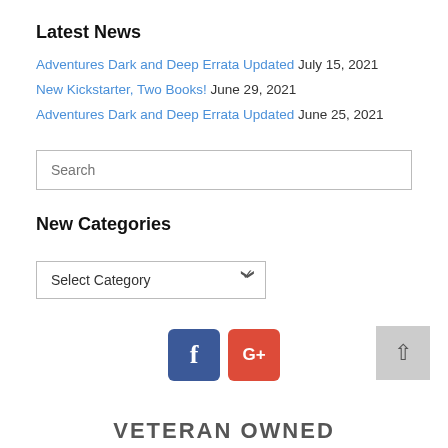Latest News
Adventures Dark and Deep Errata Updated July 15, 2021
New Kickstarter, Two Books! June 29, 2021
Adventures Dark and Deep Errata Updated June 25, 2021
Search (input field)
New Categories
Select Category (dropdown)
[Figure (logo): Facebook and Google+ social media icon buttons]
VETERAN OWNED (partial, bottom of page)